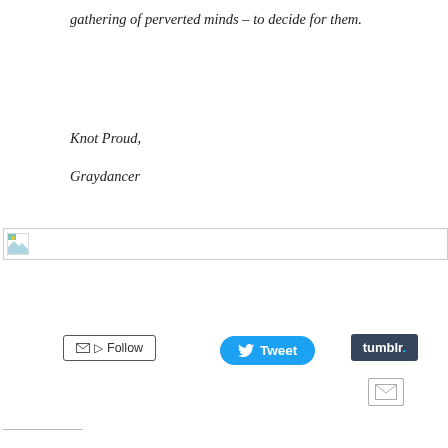gathering of perverted minds – to decide for them.
Knot Proud,
Graydancer
[Figure (other): A broken/placeholder image icon inside a horizontal bar with a light grey border, indicating a missing image.]
[Figure (screenshot): Follow button with envelope and RSS icons, Tweet button in blue with Twitter bird icon, Tumblr button in dark navy, and a mail envelope icon button below Tumblr.]